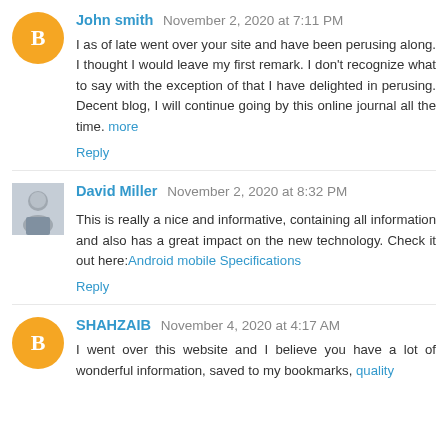John smith  November 2, 2020 at 7:11 PM
I as of late went over your site and have been perusing along. I thought I would leave my first remark. I don't recognize what to say with the exception of that I have delighted in perusing. Decent blog, I will continue going by this online journal all the time. more
Reply
David Miller  November 2, 2020 at 8:32 PM
This is really a nice and informative, containing all information and also has a great impact on the new technology. Check it out here:Android mobile Specifications
Reply
SHAHZAIB  November 4, 2020 at 4:17 AM
I went over this website and I believe you have a lot of wonderful information, saved to my bookmarks, quality